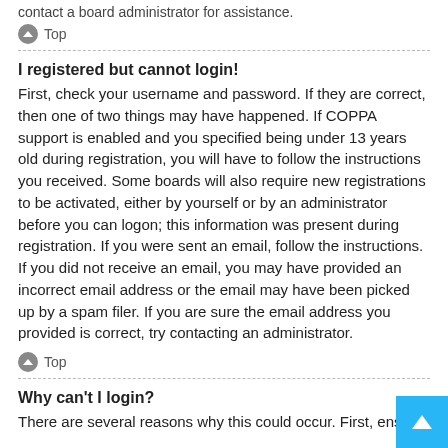contact a board administrator for assistance.
⬆ Top
I registered but cannot login!
First, check your username and password. If they are correct, then one of two things may have happened. If COPPA support is enabled and you specified being under 13 years old during registration, you will have to follow the instructions you received. Some boards will also require new registrations to be activated, either by yourself or by an administrator before you can logon; this information was present during registration. If you were sent an email, follow the instructions. If you did not receive an email, you may have provided an incorrect email address or the email may have been picked up by a spam filer. If you are sure the email address you provided is correct, try contacting an administrator.
⬆ Top
Why can't I login?
There are several reasons why this could occur. First, ensure